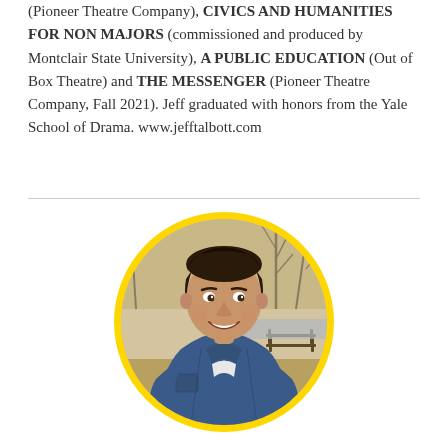(Pioneer Theatre Company), CIVICS AND HUMANITIES FOR NON MAJORS (commissioned and produced by Montclair State University), A PUBLIC EDUCATION (Out of Box Theatre) and THE MESSENGER (Pioneer Theatre Company, Fall 2021). Jeff graduated with honors from the Yale School of Drama. www.jefftalbott.com
[Figure (photo): Circular portrait photo with yellow border of a smiling young man with dark hair wearing a blue denim jacket, outdoors in a park setting with bare trees and a bench in the background, sepia-toned background.]